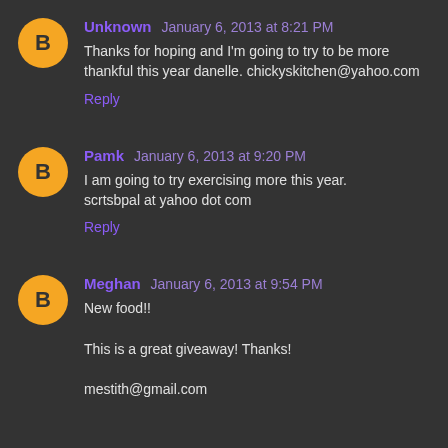Unknown January 6, 2013 at 8:21 PM
Thanks for hoping and I'm going to try to be more thankful this year danelle. chickyskitchen@yahoo.com
Reply
Pamk January 6, 2013 at 9:20 PM
I am going to try exercising more this year. scrtsbpal at yahoo dot com
Reply
Meghan January 6, 2013 at 9:54 PM
New food!!

This is a great giveaway! Thanks!

mestith@gmail.com